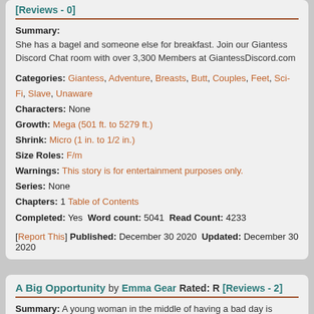[Reviews - 0]
Summary:
She has a bagel and someone else for breakfast. Join our Giantess Discord Chat room with over 3,300 Members at GiantessDiscord.com
Categories: Giantess, Adventure, Breasts, Butt, Couples, Feet, Sci-Fi, Slave, Unaware
Characters: None
Growth: Mega (501 ft. to 5279 ft.)
Shrink: Micro (1 in. to 1/2 in.)
Size Roles: F/m
Warnings: This story is for entertainment purposes only.
Series: None
Chapters: 1 Table of Contents
Completed: Yes  Word count: 5041  Read Count: 4233
[Report This] Published: December 30 2020  Updated: December 30 2020
A Big Opportunity by Emma Gear Rated: R [Reviews - 2]
Summary: A young woman in the middle of having a bad day is probably